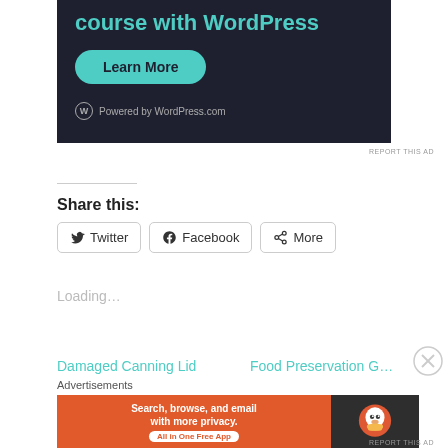[Figure (screenshot): Dark background WordPress.com advertisement banner showing 'course with WordPress' text in teal, a rounded teal 'Learn More' button, and 'Powered by WordPress.com' text with logo at bottom.]
REPORT THIS AD
Share this:
[Figure (screenshot): Social sharing buttons for Twitter, Facebook, and More with icons in rounded rectangle button style.]
Loading…
Damaged Canning Lid
Food Preservation Goals
Advertisements
[Figure (screenshot): DuckDuckGo advertisement banner with orange left panel reading 'Search, browse, and email with more privacy. All in One Free App' and dark right panel with DuckDuckGo duck logo.]
REPORT THIS AD